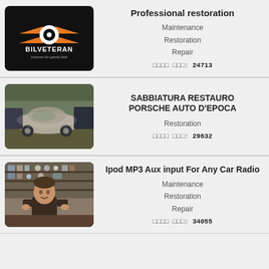[Figure (logo): Bilveteran logo: black background, orange wings with white circle/target icon, text BILVETERAN and tagline 'Intresse for gamla bilar']
Professional restoration
Maintenance
Restoration
Repair
Antal inlägg: 24713
[Figure (photo): Dusty vintage Porsche 911 parked outdoors among other cars]
SABBIATURA RESTAURO PORSCHE AUTO D'EPOCA
Restoration
Antal inlägg: 29632
[Figure (photo): Man in dark t-shirt standing in a workshop/store with shelves of parts and clocks]
Ipod MP3 Aux input For Any Car Radio
Maintenance
Restoration
Repair
Antal inlägg: 34055